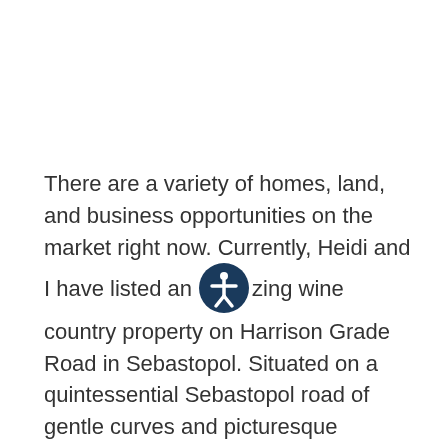There are a variety of homes, land, and business opportunities on the market right now. Currently, Heidi and I have listed an amazing wine country property on Harrison Grade Road in Sebastopol. Situated on a quintessential Sebastopol road of gentle curves and picturesque landscapes of vineyards, apple orchards, and homes, this listing does not disappoint.